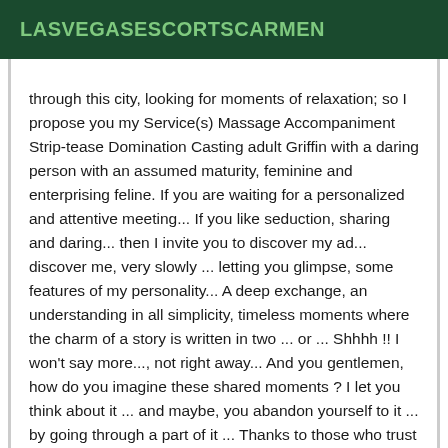LASVEGASESCORTSCARMEN
through this city, looking for moments of relaxation; so I propose you my Service(s) Massage Accompaniment Strip-tease Domination Casting adult Griffin with a daring person with an assumed maturity, feminine and enterprising feline. If you are waiting for a personalized and attentive meeting... If you like seduction, sharing and daring... then I invite you to discover my ad... discover me, very slowly ... letting you glimpse, some features of my personality... A deep exchange, an understanding in all simplicity, timeless moments where the charm of a story is written in two ... or ... Shhhh !! I won't say more..., not right away... And you gentlemen, how do you imagine these shared moments ? I let you think about it ... and maybe, you abandon yourself to it ... by going through a part of it ... Thanks to those who trust me by revealing their secrets, giving all its meaning to this moment of exchange. NO SECURE CALL ,,,, from